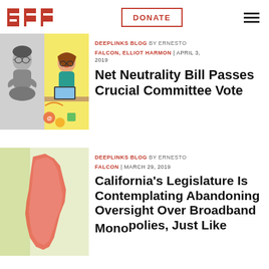EFF | DONATE | (hamburger menu)
[Figure (illustration): Two illustrated characters: left grayscale person sitting cross-legged looking frustrated, right colorful person sitting at desk with internet/technology icons]
DEEPLINKS BLOG BY ERNESTO FALCON, ELLIOT HARMON | APRIL 3, 2019
Net Neutrality Bill Passes Crucial Committee Vote
[Figure (illustration): Illustration of California state map silhouette in red/pink tones on pale yellow/green background]
DEEPLINKS BLOG BY ERNESTO FALCON | MARCH 29, 2019
California's Legislature Is Contemplating Abandoning Oversight Over Broadband Monopolies, Just Like...